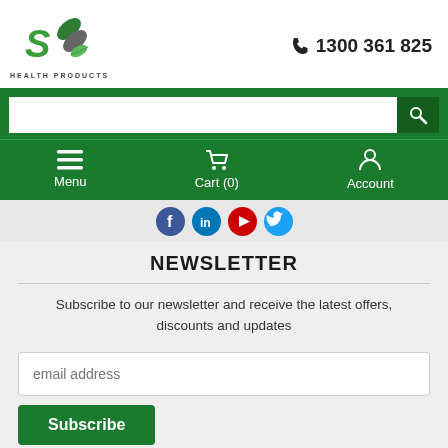[Figure (logo): SO Health Products logo — green S and capsule/leaf icon with 'HEALTH PRODUCTS' text below]
☎ 1300 361 825
[Figure (screenshot): Green navigation bar with search input field and search button, followed by Menu, Cart (0), and Account navigation items with white icons]
[Figure (other): Social media icon circles (blue Facebook, blue LinkedIn, red YouTube, blue Twitter)]
NEWSLETTER
Subscribe to our newsletter and receive the latest offers, discounts and updates
email address
Subscribe